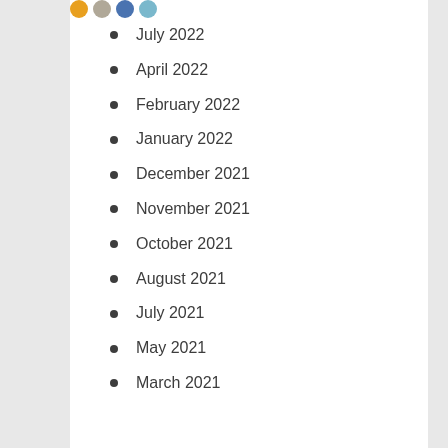[Figure (other): Partial colored circle icons at top of page]
July 2022
April 2022
February 2022
January 2022
December 2021
November 2021
October 2021
August 2021
July 2021
May 2021
March 2021